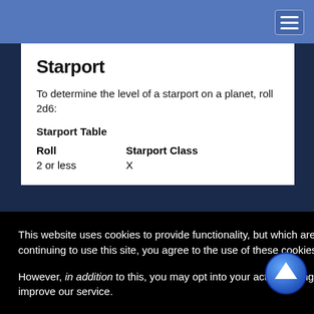Navigation bar with hamburger menu
Starport
To determine the level of a starport on a planet, roll 2d6:
Starport Table
| Roll | Starport Class |
| --- | --- |
| 2 or less | X |
This website uses cookies to provide functionality, but which are not used to track your activity. By continuing to use this site, you agree to the use of these cookies.
However, in addition to this, you may opt into your activity being tracked in order to help us improve our service.
For more information, please click here